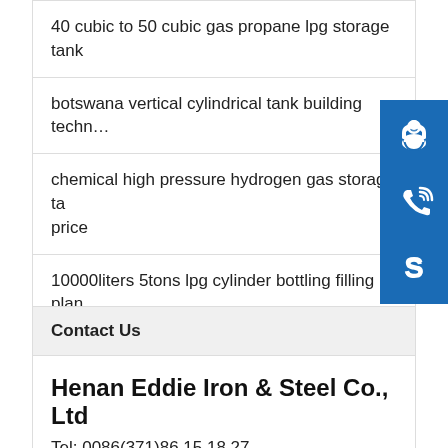40 cubic to 50 cubic gas propane lpg storage tank
botswana vertical cylindrical tank building techn…
chemical high pressure hydrogen gas storage tank price
10000liters 5tons lpg cylinder bottling filling plant lpg fi
liquigard potable water tanks liquid water storag…
Contact Us
Henan Eddie Iron & Steel Co., Ltd
Tel: 0086(371)86.15.18.27